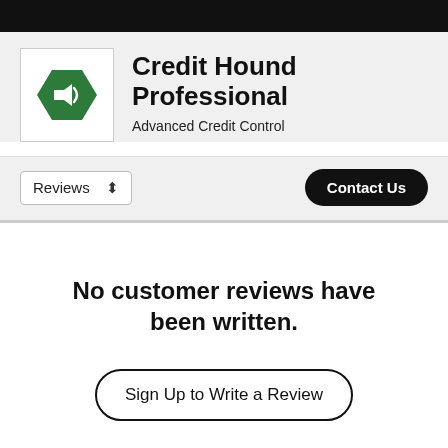[Figure (logo): Credit Hound logo — green hexagon with a white megaphone icon, with 'Credit Hound' text in green]
Credit Hound Professional
Advanced Credit Control
Reviews
Contact Us
No customer reviews have been written.
Sign Up to Write a Review